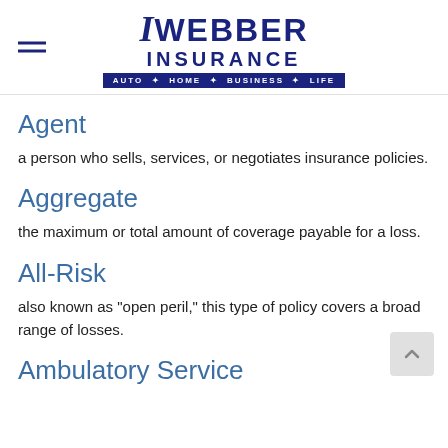Webber Insurance — Auto · Home · Business · Life
Agent
a person who sells, services, or negotiates insurance policies.
Aggregate
the maximum or total amount of coverage payable for a loss.
All-Risk
also known as "open peril," this type of policy covers a broad range of losses.
Ambulatory Service